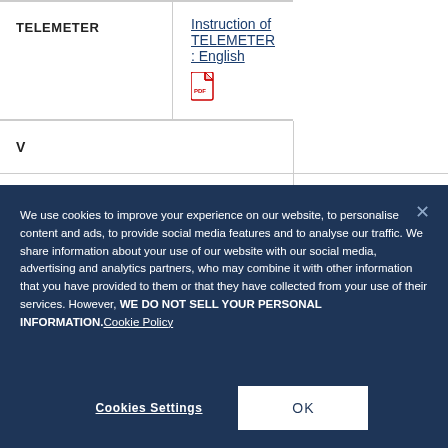|  |  |
| --- | --- |
| TELEMETER | Instruction of TELEMETER : English [PDF icon] |
| V |  |
|  |  |
We use cookies to improve your experience on our website, to personalise content and ads, to provide social media features and to analyse our traffic. We share information about your use of our website with our social media, advertising and analytics partners, who may combine it with other information that you have provided to them or that they have collected from your use of their services. However, WE DO NOT SELL YOUR PERSONAL INFORMATION. Cookie Policy
Cookies Settings | OK